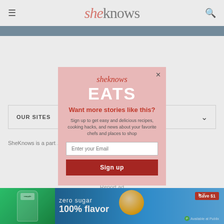sheknows
[Figure (screenshot): Blue navigation bar below site header]
[Figure (screenshot): OUR SITES expandable section with chevron]
SheKnows is a part ... edia, LLC. All Rights
[Figure (infographic): SheKnows EATS popup modal with email signup form. Contains logo, EATS title, headline 'Want more stories like this?', subtext about recipes and cooking hacks, email input field, and Sign up button.]
Report ad
[Figure (screenshot): Bottom advertisement banner: Snapple zero sugar 100% flavor, Save $1]